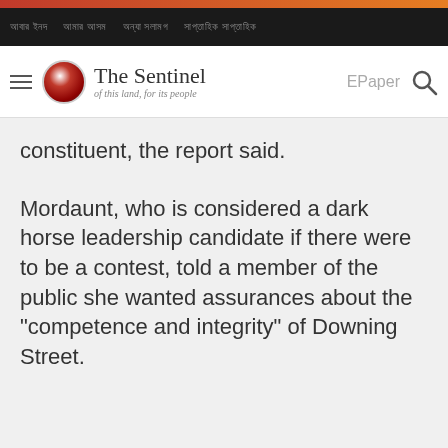The Sentinel – of this land, for its people
constituent, the report said.
Mordaunt, who is considered a dark horse leadership candidate if there were to be a contest, told a member of the public she wanted assurances about the "competence and integrity" of Downing Street.